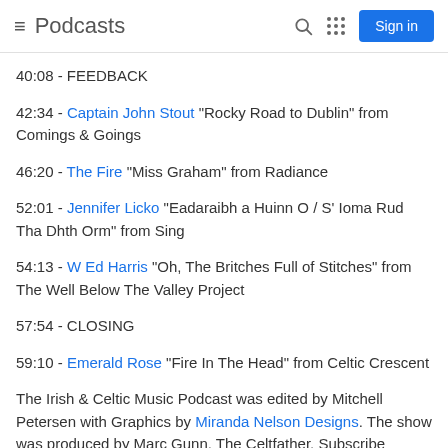Podcasts
40:08 - FEEDBACK
42:34 - Captain John Stout "Rocky Road to Dublin" from Comings & Goings
46:20 - The Fire "Miss Graham" from Radiance
52:01 - Jennifer Licko "Eadaraibh a Huinn O / S' Ioma Rud Tha Dhth Orm" from Sing
54:13 - W Ed Harris "Oh, The Britches Full of Stitches" from The Well Below The Valley Project
57:54 - CLOSING
59:10 - Emerald Rose "Fire In The Head" from Celtic Crescent
The Irish & Celtic Music Podcast was edited by Mitchell Petersen with Graphics by Miranda Nelson Designs. The show was produced by Marc Gunn, The Celtfather. Subscribe through your favorite podcatcher or on our website where you can become a Patron of the Podcast for a little as $1 per